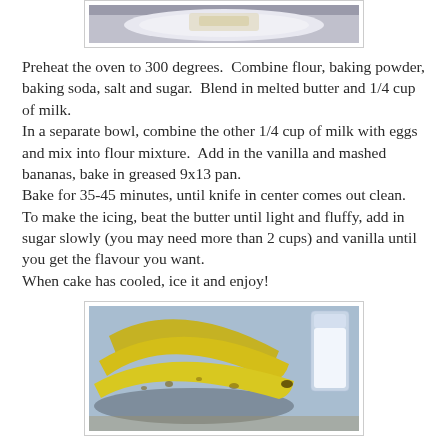[Figure (photo): Photo of a slice of banana cake on a plate, partially visible at the top of the page]
Preheat the oven to 300 degrees.  Combine flour, baking powder, baking soda, salt and sugar.  Blend in melted butter and 1/4 cup of milk.
In a separate bowl, combine the other 1/4 cup of milk with eggs and mix into flour mixture.  Add in the vanilla and mashed bananas, bake in greased 9x13 pan.
Bake for 35-45 minutes, until knife in center comes out clean.
To make the icing, beat the butter until light and fluffy, add in sugar slowly (you may need more than 2 cups) and vanilla until you get the flavour you want.
When cake has cooled, ice it and enjoy!
[Figure (photo): Photo of ripe bananas and a glass of milk on a blue cloth background]